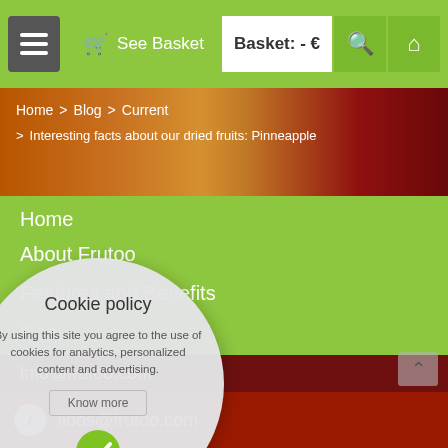See Basket  Basket: - €
Home > Blog > Current > Interesting facts about our dried fruits: Pinneapple
Home
About Frutoo
Features and Benefits
Con...
[Figure (screenshot): Cookie policy modal overlay with text: By using this site you agree to the use of cookies for analytics, personalized content and advertising. Know more button and green checkmark.]
...ri (10:00-14:00h)
info@frutoo.com
lidos@frutoo.com